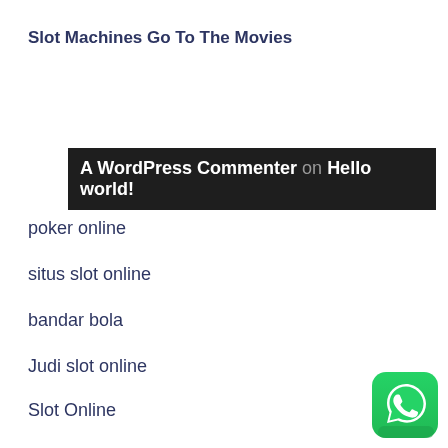Slot Machines Go To The Movies
A WordPress Commenter on Hello world!
poker online
situs slot online
bandar bola
Judi slot online
Slot Online